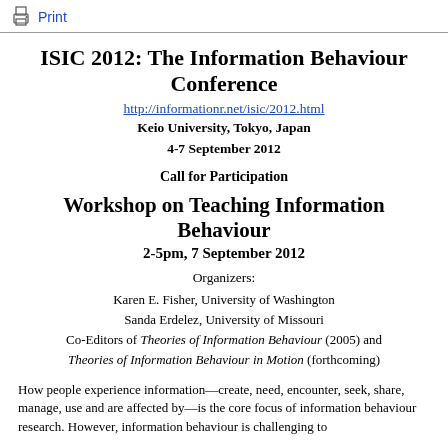Print
ISIC 2012: The Information Behaviour Conference
http://informationr.net/isic/2012.html
Keio University, Tokyo, Japan
4-7 September 2012
Call for Participation
Workshop on Teaching Information Behaviour
2-5pm, 7 September 2012
Organizers:

Karen E. Fisher, University of Washington
Sanda Erdelez, University of Missouri
Co-Editors of Theories of Information Behaviour (2005) and Theories of Information Behaviour in Motion (forthcoming)
How people experience information—create, need, encounter, seek, share, manage, use and are affected by—is the core focus of information behaviour research. However, information behaviour is challenging to